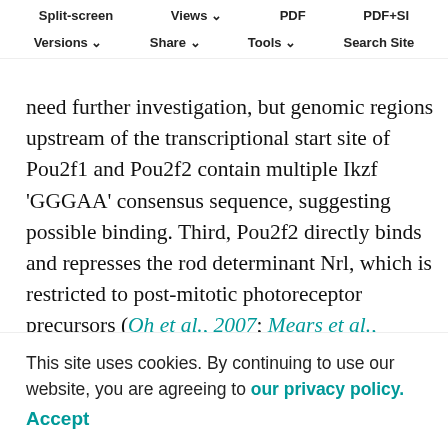Split-screen | Views | PDF | PDF+SI | Versions | Share | Tools | Search Site
not assess the recently discovered temporal identity factor Foxn4 (Li et al., 2020). Thus, Pou2f1 appears to be integrated into the temporal cascade, but not Pou2f2. Whether Ikzf1 regulates Pou2f1 and Pou2f2 directly will need further investigation, but genomic regions upstream of the transcriptional start site of Pou2f1 and Pou2f2 contain multiple Ikzf 'GGGAA' consensus sequence, suggesting possible binding. Third, Pou2f2 directly binds and represses the rod determinant Nrl, which is restricted to post-mitotic photoreceptor precursors (Oh et al., 2007; Mears et al., 2001). Together with our finding that Pou2f2 is able to induce the cone fate when expressed from the Nrl promoter, this is further evidence that Pou2f2 primarily acts on photoreceptor precursor cells, to specify cone identity. Importantly, however, we cannot rule out an additional role
This site uses cookies. By continuing to use our website, you are agreeing to our privacy policy. Accept